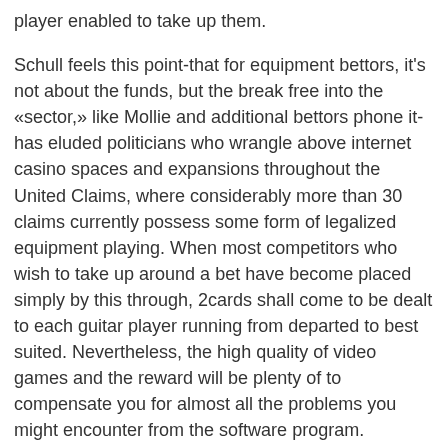player enabled to take up them.
Schull feels this point-that for equipment bettors, it's not about the funds, but the break free into the «sector,» like Mollie and additional bettors phone it-has eluded politicians who wrangle above internet casino spaces and expansions throughout the United Claims, where considerably more than 30 claims currently possess some form of legalized equipment playing. When most competitors who wish to take up around a bet have become placed simply by this through, 2cards shall come to be dealt to each guitar player running from departed to best suited. Nevertheless, the high quality of video games and the reward will be plenty of to compensate you for almost all the problems you might encounter from the software program.
While you may well have had to go to a land-based gambling den to have these activities in the past, on line casinos can be all the rage presently. We are the best service of cell phone online casino wars activities. He said: «We aimed to